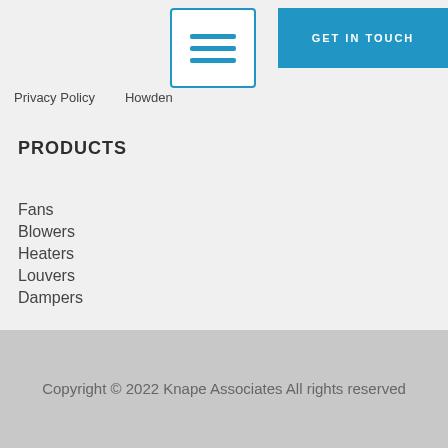Privacy Policy   Howden
PRODUCTS
Fans
Blowers
Heaters
Louvers
Dampers
Copyright © 2022 Knape Associates All rights reserved